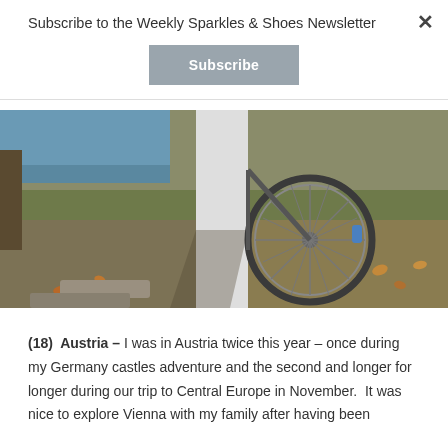Subscribe to the Weekly Sparkles & Shoes Newsletter
Subscribe
[Figure (photo): Outdoor photo of a bicycle leaning against a white post or pillar, with autumn grass, fallen leaves, and a hint of blue water in the background. The bicycle wheel is prominently visible.]
(18)  Austria – I was in Austria twice this year – once during my Germany castles adventure and the second and longer for longer during our trip to Central Europe in November.  It was nice to explore Vienna with my family after having been